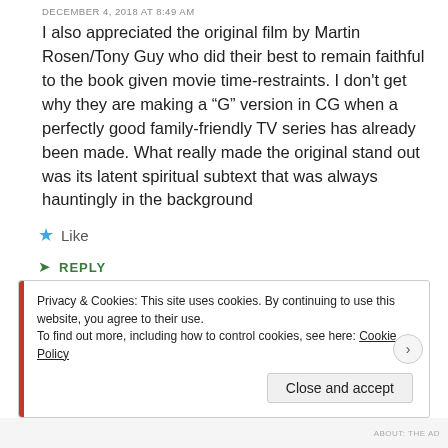DECEMBER 4, 2018 AT 8:49 AM
I also appreciated the original film by Martin Rosen/Tony Guy who did their best to remain faithful to the book given movie time-restraints. I don't get why they are making a “G” version in CG when a perfectly good family-friendly TV series has already been made. What really made the original stand out was its latent spiritual subtext that was always hauntingly in the background
★ Like
➤ REPLY
Privacy & Cookies: This site uses cookies. By continuing to use this website, you agree to their use.
To find out more, including how to control cookies, see here: Cookie Policy
Close and accept